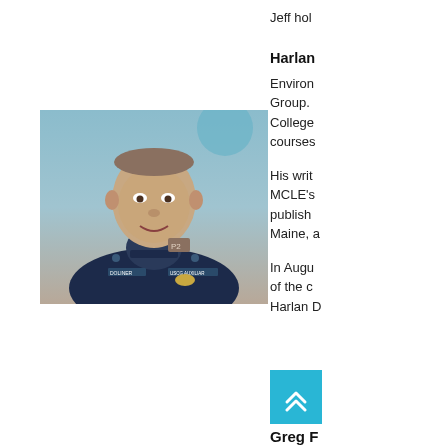Jeff hol
[Figure (photo): A man in a navy blue USCG Auxiliary uniform, identified as Doliner on his name tag, smiling at the camera against a light blue/teal background.]
Harlan
Environ Group. College courses
His writ MCLE's publish Maine, a
In Augu of the c Harlan D
Greg F